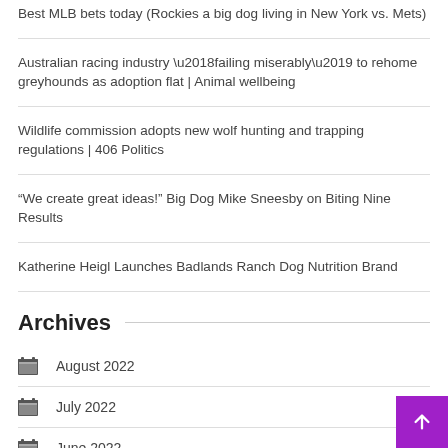Best MLB bets today (Rockies a big dog living in New York vs. Mets)
Australian racing industry ‘failing miserably’ to rehome greyhounds as adoption flat | Animal wellbeing
Wildlife commission adopts new wolf hunting and trapping regulations | 406 Politics
“We create great ideas!” Big Dog Mike Sneesby on Biting Nine Results
Katherine Heigl Launches Badlands Ranch Dog Nutrition Brand
Archives
August 2022
July 2022
June 2022
May 2022